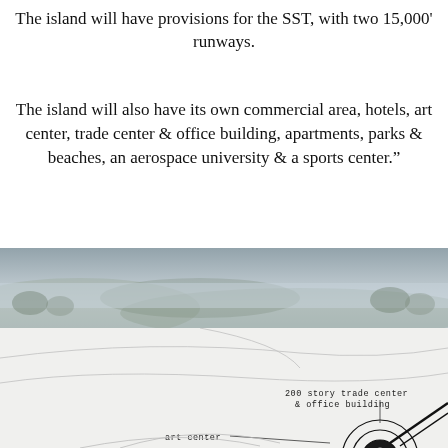The island will have provisions for the SST, with two 15,000' runways.
The island will also have its own commercial area, hotels, art center, trade center & office building, apartments, parks & beaches, an aerospace university & a sports center."
[Figure (photo): Aerial photograph of a coastal/island landscape shown as background image]
[Figure (engineering-diagram): Architectural/planning diagram of island layout showing concentric circles with labels: '200 story trade center & office building' and 'art center', with runway lines visible]